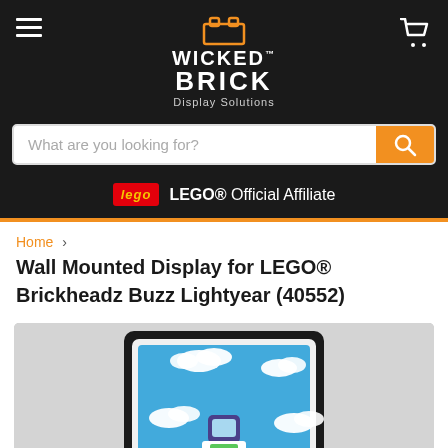[Figure (logo): Wicked Brick Display Solutions logo with orange LEGO-brick shaped icon and white bold text]
What are you looking for?
LEGO® Official Affiliate
Home > Wall Mounted Display for LEGO® Brickheadz Buzz Lightyear (40552)
Wall Mounted Display for LEGO® Brickheadz Buzz Lightyear (40552)
[Figure (photo): Product photo of a wall-mounted display for LEGO Brickheadz Buzz Lightyear set, showing a framed display with blue sky and clouds background, mounted on a white wall]